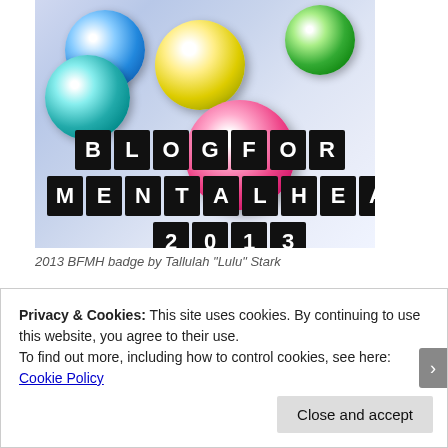[Figure (photo): Photo of colorful glass marbles on a light blue/purple background, with overlaid text tiles reading BLOG FOR MENTAL HEALTH 2013]
2013 BFMH badge by Tallulah "Lulu" Stark
Privacy & Cookies: This site uses cookies. By continuing to use this website, you agree to their use.
To find out more, including how to control cookies, see here: Cookie Policy